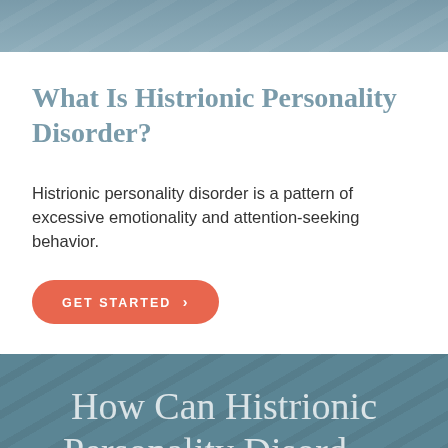[Figure (photo): Top banner with blurred blue-grey background image, resembling a desk or keyboard surface]
What Is Histrionic Personality Disorder?
Histrionic personality disorder is a pattern of excessive emotionality and attention-seeking behavior.
GET STARTED ›
How Can Histrionic Personality Disord...